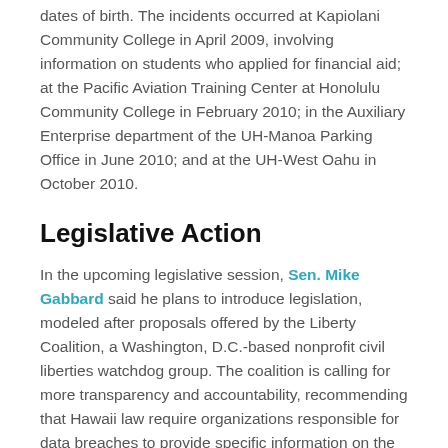dates of birth. The incidents occurred at Kapiolani Community College in April 2009, involving information on students who applied for financial aid; at the Pacific Aviation Training Center at Honolulu Community College in February 2010; in the Auxiliary Enterprise department of the UH-Manoa Parking Office in June 2010; and at the UH-West Oahu in October 2010.
Legislative Action
In the upcoming legislative session, Sen. Mike Gabbard said he plans to introduce legislation, modeled after proposals offered by the Liberty Coalition, a Washington, D.C.-based nonprofit civil liberties watchdog group. The coalition is calling for more transparency and accountability, recommending that Hawaii law require organizations responsible for data breaches to provide specific information on the nature of the breach.
The coalition also suggests the state establish a "Breach Victims Trust Account" to be administered by a "Victims